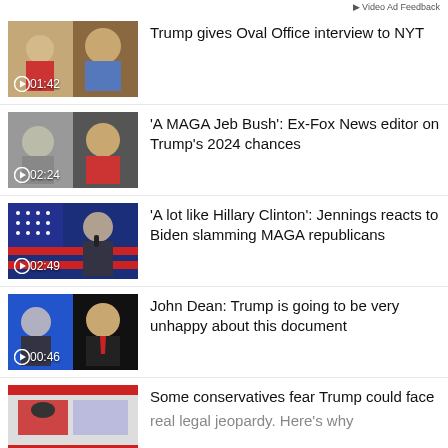Video Ad Feedback
Trump gives Oval Office interview to NYT — 01:42
'A MAGA Jeb Bush': Ex-Fox News editor on Trump's 2024 chances — 02:24
'A lot like Hillary Clinton': Jennings reacts to Biden slamming MAGA republicans — 02:49
John Dean: Trump is going to be very unhappy about this document — 00:46
Some conservatives fear Trump could face real legal jeopardy. Here's why
See More Videos